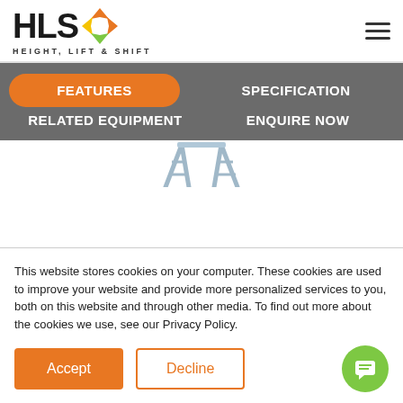[Figure (logo): HLS Height, Lift & Shift logo with diamond/arrow icon in orange, yellow and green]
FEATURES | SPECIFICATION | RELATED EQUIPMENT | ENQUIRE NOW
[Figure (photo): Partial image of an aluminium step ladder/trestle ladder on white background]
This website stores cookies on your computer. These cookies are used to improve your website and provide more personalized services to you, both on this website and through other media. To find out more about the cookies we use, see our Privacy Policy.